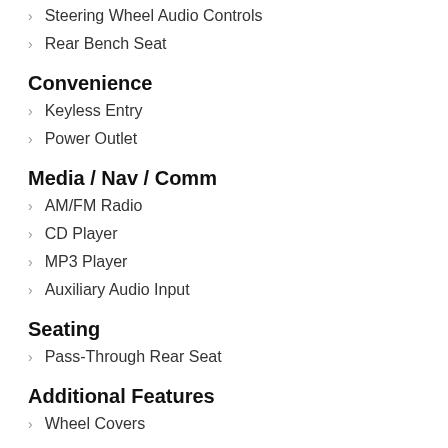Steering Wheel Audio Controls
Rear Bench Seat
Convenience
Keyless Entry
Power Outlet
Media / Nav / Comm
AM/FM Radio
CD Player
MP3 Player
Auxiliary Audio Input
Seating
Pass-Through Rear Seat
Additional Features
Wheel Covers